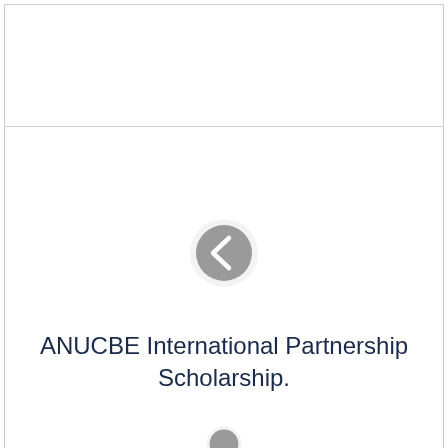[Figure (other): A circular grey navigation button with a left-pointing chevron arrow (<), indicating a back/previous navigation control]
ANUCBE International Partnership Scholarship.
[Figure (other): A circular grey navigation button (partially visible at bottom), likely a next/forward navigation control]